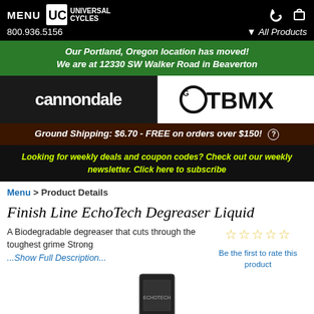MENU | UC UNIVERSAL CYCLES | 800.936.5156 | All Products
Our Portland, Oregon location has moved! We are at 12330 SW Walker Road in Beaverton
[Figure (logo): Cannondale logo (white text on black) and GTBMX logo (black text on white), side by side]
Ground Shipping: $6.70 - FREE on orders over $150! ?
Looking for weekly deals and coupon codes? Check out our weekly newsletter. Click here to subscribe
Menu > Product Details
Finish Line EchoTech Degreaser Liquid
A Biodegradable degreaser that cuts through the toughest grime Strong ...Show Full Description...
Be the first to rate this product